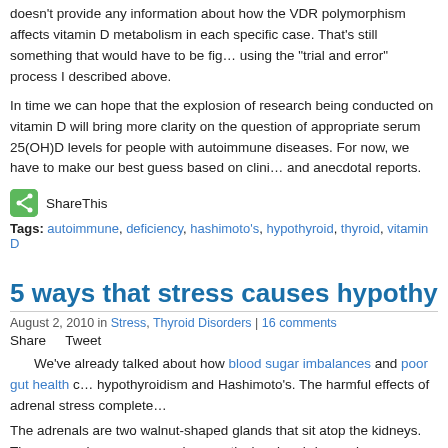doesn't provide any information about how the VDR polymorphism affects vitamin D metabolism in each specific case. That's still something that would have to be figured out using the "trial and error" process I described above.
In time we can hope that the explosion of research being conducted on vitamin D will bring more clarity on the question of appropriate serum 25(OH)D levels for people with autoimmune diseases. For now, we have to make our best guess based on clinical experience and anecdotal reports.
[Figure (other): ShareThis social sharing button icon (green square with share symbol)]
Tags: autoimmune, deficiency, hashimoto's, hypothyroid, thyroid, vitamin D
5 ways that stress causes hypothyroid sympt…
August 2, 2010 in Stress, Thyroid Disorders | 16 comments
Share   Tweet
We've already talked about how blood sugar imbalances and poor gut health contribute to hypothyroidism and Hashimoto's. The harmful effects of adrenal stress complete…
The adrenals are two walnut-shaped glands that sit atop the kidneys. They secrete hormones – such as cortisol, epinephrine and norepinephrine – that regulate the stress response. But these hormones play other crucial roles, many of which are directly related to thyroid health. In fact, as we'll see in this article, proper thyroid function depends…